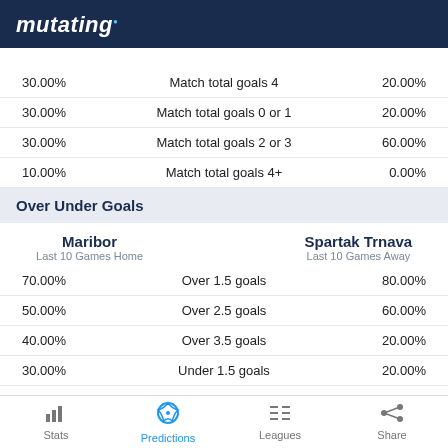mutating
| Left % | Match Total Goals | Right % |
| --- | --- | --- |
| 30.00% | Match total goals 4 | 20.00% |
| 30.00% | Match total goals 0 or 1 | 20.00% |
| 30.00% | Match total goals 2 or 3 | 60.00% |
| 10.00% | Match total goals 4+ | 0.00% |
Over Under Goals
Maribor | Last 10 Games Home | Spartak Trnava | Last 10 Games Away
| Left % | Stat | Right % |
| --- | --- | --- |
| 70.00% | Over 1.5 goals | 80.00% |
| 50.00% | Over 2.5 goals | 60.00% |
| 40.00% | Over 3.5 goals | 20.00% |
| 30.00% | Under 1.5 goals | 20.00% |
| 50.00% | Under 2.5 goals | 40.00% |
Stats | Predictions | Leagues | Share